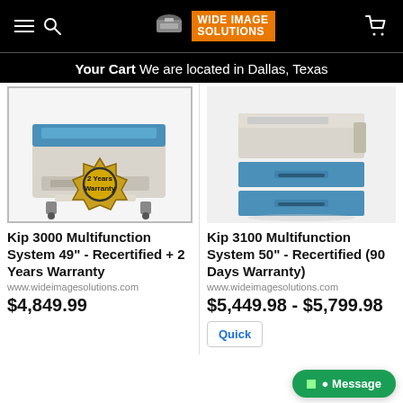Wide Image Solutions — Your Cart  We are located in Dallas, Texas
[Figure (photo): Kip 3000 large-format multifunction printer, white/beige with blue top, with a gold '2 Years Warranty' badge overlay]
Kip 3000 Multifunction System 49" - Recertified + 2 Years Warranty
www.wideimagesolutions.com
$4,849.99
[Figure (photo): Kip 3100 large-format multifunction printer, white/beige with two blue drawers]
Kip 3100 Multifunction System 50" - Recertified (90 Days Warranty)
www.wideimagesolutions.com
$5,449.98 - $5,799.98